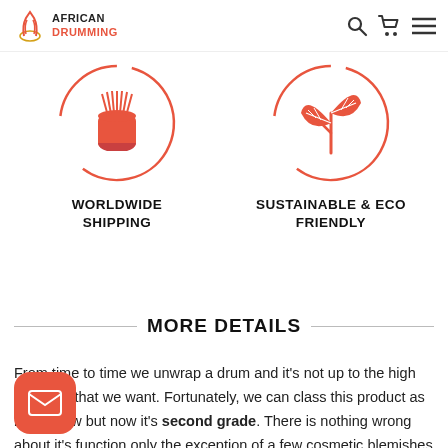AFRICAN DRUMMING
[Figure (illustration): Two circular icons: left shows a red African drum icon with circle border; right shows red leaves/eco icon with circle border]
WORLDWIDE SHIPPING
SUSTAINABLE & ECO FRIENDLY
MORE DETAILS
From time to time we unwrap a drum and it's not up to the high standard that we want. Fortunately, we can class this product as brand new but now it's second grade. There is nothing wrong about it's function only the exception of a few cosmetic blemishes and scuff marks. Overall it's still a great